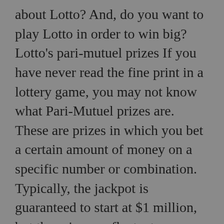about Lotto? And, do you want to play Lotto in order to win big? Lotto's pari-mutuel prizes If you have never read the fine print in a lottery game, you may not know what Pari-Mutuel prizes are. These are prizes in which you bet a certain amount of money on a specific number or combination. Typically, the jackpot is guaranteed to start at $1 million, but the prize can fluctuate over time. The jackpot is calculated on a pari-mutuel basis based on the number of tickets sold, and how many people have purchased those tickets. It's a form of taxation It has been argued that lottery participation is a form of taxation. This is because the government raises revenue from the lotteries, and the lottery officials would rather not label the games as taxes. As such, they prefer to avoid imposing higher taxes on people who cannot afford to participate. Legislators, on the other hand, want to give the impression that the proceeds of the